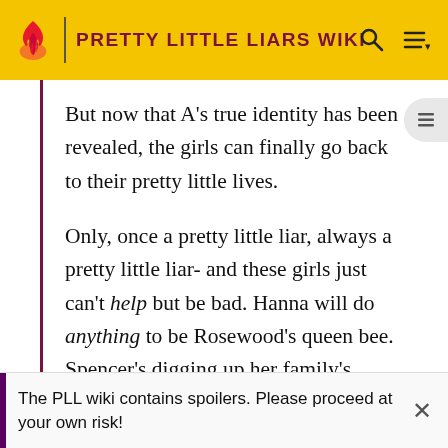PRETTY LITTLE LIARS WIKI
But now that A's true identity has been revealed, the girls can finally go back to their pretty little lives.
Only, once a pretty little liar, always a pretty little liar- and these girls just can't help but be bad. Hanna will do anything to be Rosewood's queen bee. Spencer's digging up her family's secrets. Emily can't stop thinking about her new boyfriend. And Aria approves a little too strongly in her mom's taste in men.
The PLL wiki contains spoilers. Please proceed at your own risk!